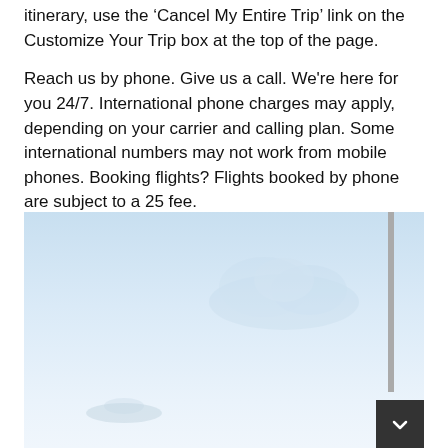itinerary, use the 'Cancel My Entire Trip' link on the Customize Your Trip box at the top of the page.
Reach us by phone. Give us a call. We're here for you 24/7. International phone charges may apply, depending on your carrier and calling plan. Some international numbers may not work from mobile phones. Booking flights? Flights booked by phone are subject to a 25 fee.
Skip the fee by booking at ticketbook.buzz Explore our cheap airfare options by carrier, with over options to choose from. Book one of our most popular flight routes with three easy clicks.
Find cheap airline tickets to popular U.S. destinations from coast to coast. Get cheap air travel to global destinations in. To rebook your flights, please contact the issuing offices or our Contact Center within the validity period of the ticket.
[Figure (photo): Aerial or ground-level photo with light blue sky background, faint cloud shapes, a pole on the right side, and a partial aircraft silhouette at bottom left.]